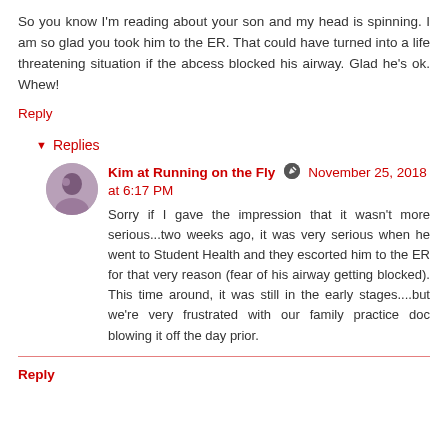So you know I'm reading about your son and my head is spinning. I am so glad you took him to the ER. That could have turned into a life threatening situation if the abcess blocked his airway. Glad he's ok. Whew!
Reply
▾ Replies
Kim at Running on the Fly  November 25, 2018 at 6:17 PM
Sorry if I gave the impression that it wasn't more serious...two weeks ago, it was very serious when he went to Student Health and they escorted him to the ER for that very reason (fear of his airway getting blocked). This time around, it was still in the early stages....but we're very frustrated with our family practice doc blowing it off the day prior.
Reply